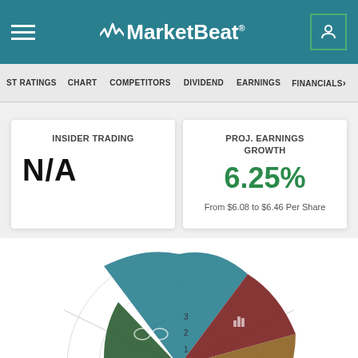MarketBeat
ST RATINGS  CHART  COMPETITORS  DIVIDEND  EARNINGS  FINANCIALS
INSIDER TRADING
N/A
PROJ. EARNINGS GROWTH
6.25%
From $6.08 to $6.46 Per Share
[Figure (radar-chart): Partial radar/spider chart with colored wedge segments in teal, dark red, olive/brown, and green colors, with concentric circle gridlines and icons in each segment. Labels 1, 2, 3 visible on axis.]